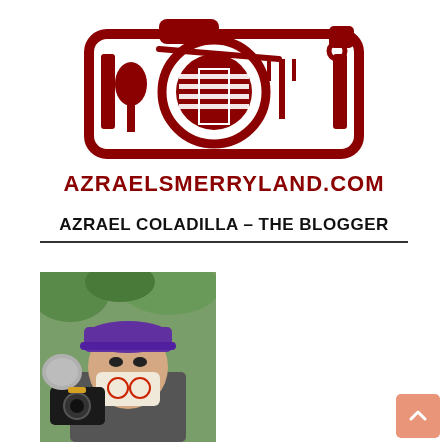[Figure (logo): Azrael's Merryland camera logo with food icons (spoon, fork, plane) inside a camera body, dark red/maroon color on white background. Below the camera icon text reads AZRAELSMERRYLAND.COM in bold dark red capitals.]
AZRAEL COLADILLA – THE BLOGGER
[Figure (photo): Photo of a person wearing a purple cap and a face mask, holding a camera with a furry microphone windscreen attached, outdoors with green foliage in the background.]